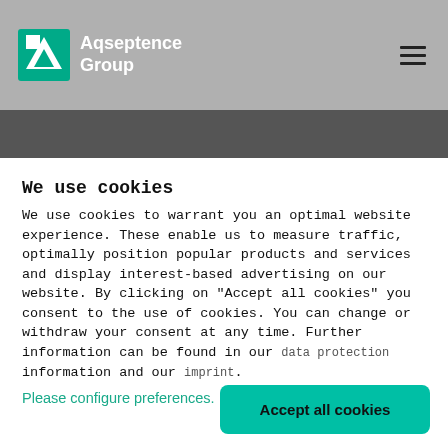Aqseptence Group
We use cookies
We use cookies to warrant you an optimal website experience. These enable us to measure traffic, optimally position popular products and services and display interest-based advertising on our website. By clicking on "Accept all cookies" you consent to the use of cookies. You can change or withdraw your consent at any time. Further information can be found in our data protection information and our imprint.
Please configure preferences.
Accept all cookies